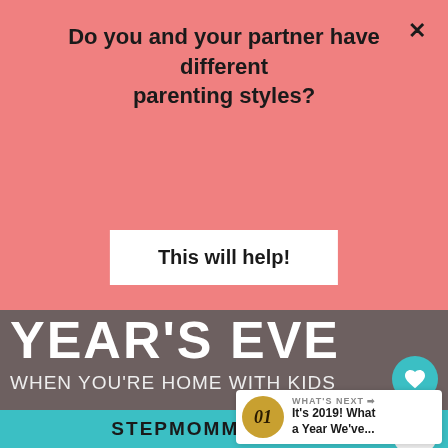Do you and your partner have different parenting styles?
This will help!
[Figure (screenshot): Website banner showing 'YEAR'S EVE WHEN YOU'RE HOME WITH KIDS' and STEPMOMMING.COM in teal bar]
WHAT'S NEXT → It's 2019! What a Year We've...